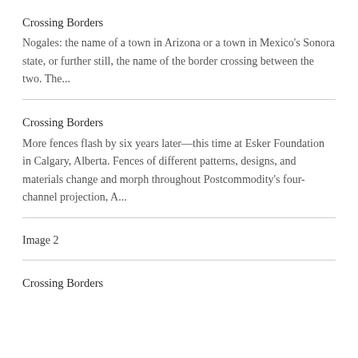Crossing Borders
Nogales: the name of a town in Arizona or a town in Mexico’s Sonora state, or further still, the name of the border crossing between the two. The...
Crossing Borders
More fences flash by six years later—this time at Esker Foundation in Calgary, Alberta. Fences of different patterns, designs, and materials change and morph throughout Postcommodity’s four-channel projection, A...
Image 2
Crossing Borders